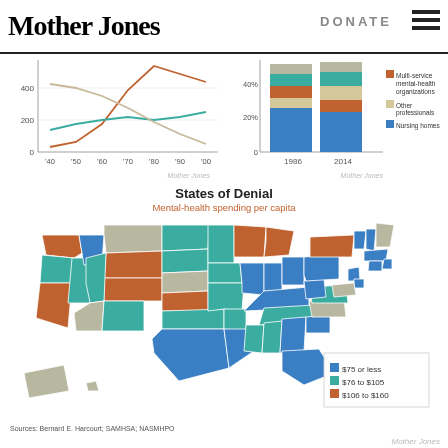Mother Jones | DONATE
[Figure (line-chart): Line chart showing three trend lines from ~1940 to 2000: one rising red/brown curve, one relatively flat teal line, and one declining tan/beige line]
[Figure (stacked-bar-chart): Mental health spending by provider type]
States of Denial
Mental-health spending per capita
[Figure (map): Choropleth map of the United States showing mental-health spending per capita by state in three categories: $75 or less (blue), $76 to $105 (teal), $106 to $160 (red/orange)]
Sources: Bernard E. Harcourt; SAMHSA; NASMHPO
Mother Jones